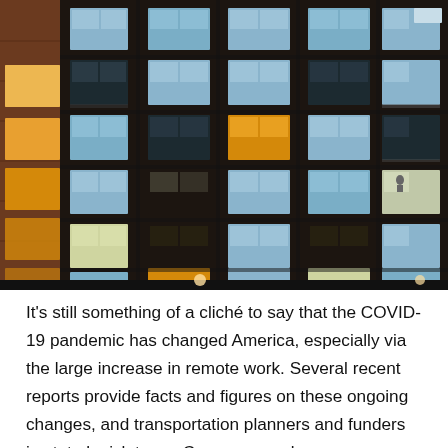[Figure (photo): Nighttime photograph of the facade of a multi-story residential apartment building showing a grid of illuminated and dark windows, some with balconies. Some windows glow warm yellow/orange, others show cool blue or grey light, against a dark building exterior.]
It's still something of a cliché to say that the COVID-19 pandemic has changed America, especially via the large increase in remote work. Several recent reports provide facts and figures on these ongoing changes, and transportation planners and funders in state legislatures, Congress, and